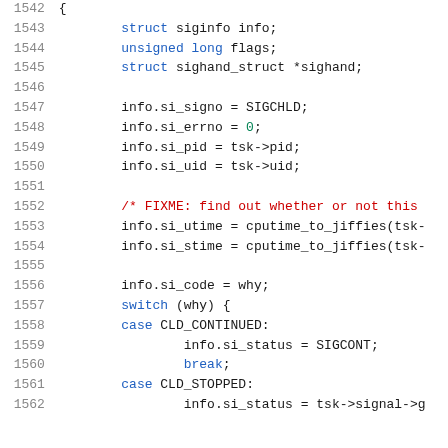Source code listing, lines 1542-1562, showing C code for signal handling with struct siginfo, si_signo, si_errno, si_pid, si_uid, cputime_to_jiffies, switch on why with CLD_CONTINUED and CLD_STOPPED cases.